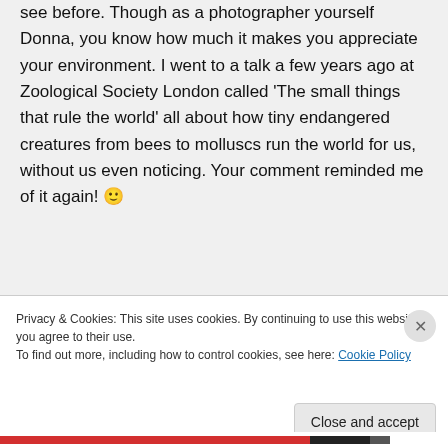see before. Though as a photographer yourself Donna, you know how much it makes you appreciate your environment. I went to a talk a few years ago at Zoological Society London called 'The small things that rule the world' all about how tiny endangered creatures from bees to molluscs run the world for us, without us even noticing. Your comment reminded me of it again! 🙂
Privacy & Cookies: This site uses cookies. By continuing to use this website, you agree to their use.
To find out more, including how to control cookies, see here: Cookie Policy